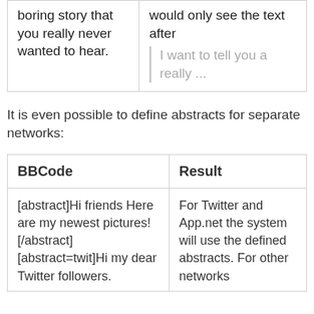|  |  |
| --- | --- |
| boring story that you really never wanted to hear. | would only see the text after
[blockquote: I want to tell you a really ...] |
It is even possible to define abstracts for separate networks:
| BBCode | Result |
| --- | --- |
| [abstract]Hi friends Here are my newest pictures![/abstract] [abstract=twit]Hi my dear Twitter followers. | For Twitter and App.net the system will use the defined abstracts. For other networks |